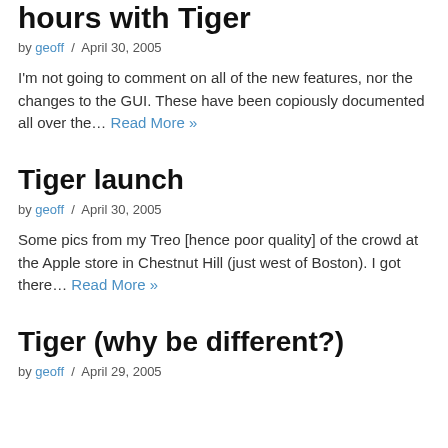hours with Tiger
by geoff / April 30, 2005
I'm not going to comment on all of the new features, nor the changes to the GUI. These have been copiously documented all over the… Read More »
Tiger launch
by geoff / April 30, 2005
Some pics from my Treo [hence poor quality] of the crowd at the Apple store in Chestnut Hill (just west of Boston). I got there… Read More »
Tiger (why be different?)
by geoff / April 29, 2005